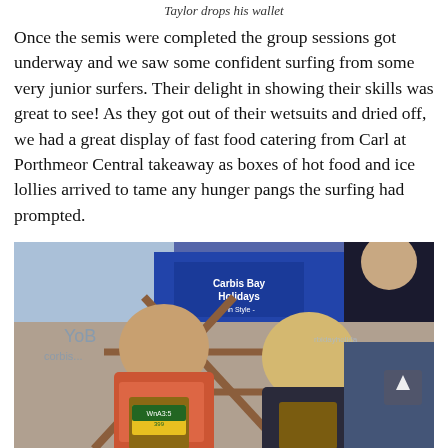Taylor drops his wallet
Once the semis were completed the group sessions got underway and we saw some confident surfing from some very junior surfers. Their delight in showing their skills was great to see! As they got out of their wetsuits and dried off, we had a great display of fast food catering from Carl at Porthmeor Central takeaway as boxes of hot food and ice lollies arrived to tame any hunger pangs the surfing had prompted.
[Figure (photo): Two children sitting in wooden deckchairs eating food from brown paper bags/boxes, with a Carbis Bay Holidays banner in the background and another child visible on the right.]